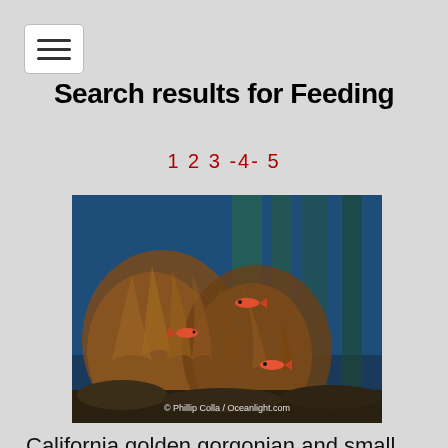[Figure (screenshot): Navigation menu button (hamburger icon) in top left corner]
Search results for Feeding
1 2 3 -4- 5
[Figure (photo): California golden gorgonian and small juvenile sheephead fishes on rocky reef, below kelp. Underwater photo by Phillip Colla / Oceanlight.com]
California golden gorgonian and small juvenile sheephead fishes on rocky reef, below kelp